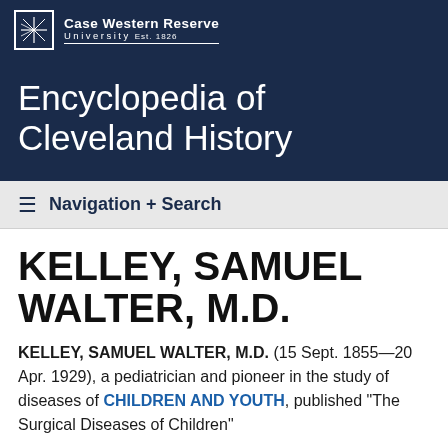Case Western Reserve University Est. 1826
Encyclopedia of Cleveland History
Navigation + Search
KELLEY, SAMUEL WALTER, M.D.
KELLEY, SAMUEL WALTER, M.D. (15 Sept. 1855—20 Apr. 1929), a pediatrician and pioneer in the study of diseases of CHILDREN AND YOUTH, published "The Surgical Diseases of Children"